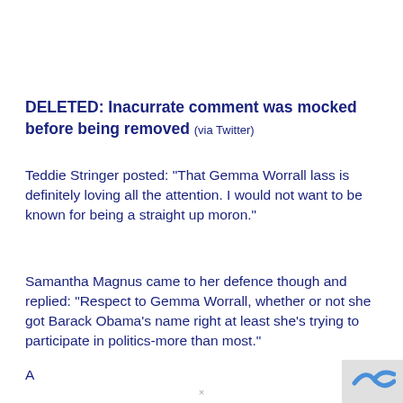DELETED: Inacurrate comment was mocked before being removed (via Twitter)
Teddie Stringer posted: “That Gemma Worrall lass is definitely loving all the attention. I would not want to be known for being a straight up moron.”
Samantha Magnus came to her defence though and replied: “Respect to Gemma Worrall, whether or not she got Barack Obama’s name right at least she’s trying to participate in politics-more than most.”
A